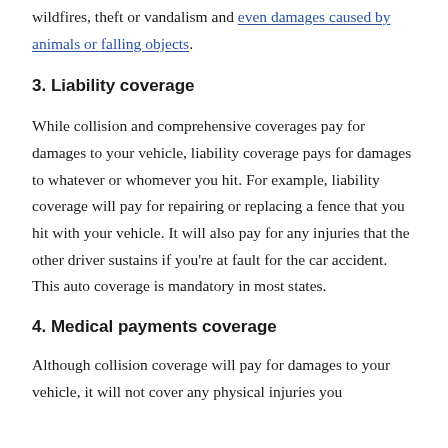wildfires, theft or vandalism and even damages caused by animals or falling objects.
3. Liability coverage
While collision and comprehensive coverages pay for damages to your vehicle, liability coverage pays for damages to whatever or whomever you hit. For example, liability coverage will pay for repairing or replacing a fence that you hit with your vehicle. It will also pay for any injuries that the other driver sustains if you're at fault for the car accident. This auto coverage is mandatory in most states.
4. Medical payments coverage
Although collision coverage will pay for damages to your vehicle, it will not cover any physical injuries you